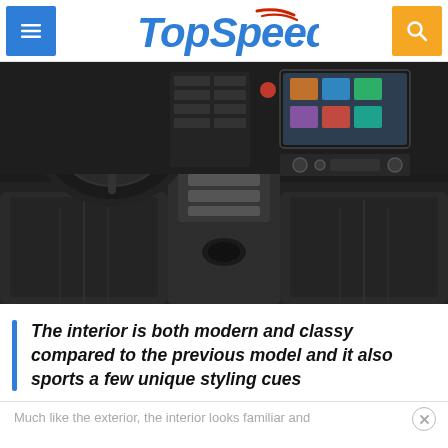TopSpeed
[Figure (photo): Honda car interior showing steering wheel, center console, touchscreen, gear selector, and black leather seats]
The interior is both modern and classy compared to the previous model and it also sports a few unique styling cues
Much like the exterior, the interior looks familiar and